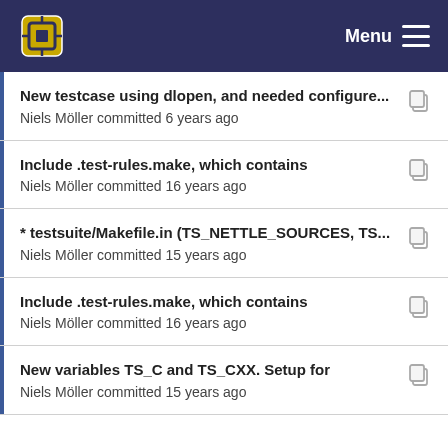Menu
New testcase using dlopen, and needed configure...
Niels Möller committed 6 years ago
Include .test-rules.make, which contains
Niels Möller committed 16 years ago
* testsuite/Makefile.in (TS_NETTLE_SOURCES, TS...
Niels Möller committed 15 years ago
Include .test-rules.make, which contains
Niels Möller committed 16 years ago
New variables TS_C and TS_CXX. Setup for
Niels Möller committed 15 years ago